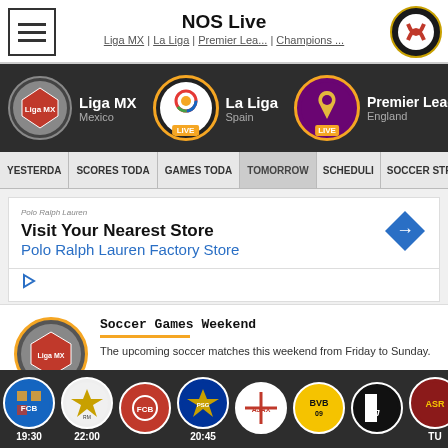NOS Live — Liga MX | La Liga | Premier Lea... | Champions ...
[Figure (screenshot): League navigation bar with Liga MX, La Liga (LIVE), Premier League (LIVE), and Champions League icons on dark background]
[Figure (screenshot): Tab bar: YESTERDAY | SCORES TODAY | GAMES TODAY | TOMORROW | SCHEDULE | SOCCER STREAM | menu]
[Figure (screenshot): Advertisement banner: Visit Your Nearest Store — Polo Ralph Lauren Factory Store]
[Figure (screenshot): Content card with Liga MX icon: Soccer Games Weekend — The upcoming soccer matches this weekend from Friday to Sunday.]
[Figure (screenshot): Advertisement area with close button and circular logo partially visible]
[Figure (screenshot): Advertisement banner: Time For a Trim? Hair Cuttery]
[Figure (screenshot): Bottom club bar showing FC Barcelona (19:30), Real Madrid (22:00), Bayern Munich, PSG (20:45), Ajax, BVB Dortmund, Juventus, AS Roma, AC Milan (TU)]